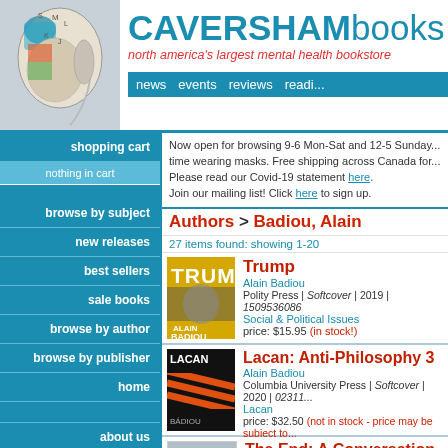[Figure (logo): Caversham Books logo with phrenology head illustration]
CAVERSHAMbooks - north america's largest mental health bookstore
news  events  reviews  readi...
Now open for browsing 9-6 Mon-Sat and 12-5 Sunday... time wearing masks. Free shipping across Canada for... Please read our Covid-19 statement here. Join our mailing list! Click here to sign up.
Authors > Badiou, Alain
27 items found: showing 1-20
[Figure (photo): Book cover: Trump by Alain Badiou - yellow cover with stylized figure]
Trump
Alain Badiou
Polity Press | Softcover | 2019 | 1509536086
Social & Political Issues
price: $15.95 (in stock!)
[Figure (photo): Book cover: Lacan: Anti-Philosophy 3 by Alain Badiou - dark cover with orange stripes]
Lacan: Anti-Philosophy 3
Alain Badiou
Columbia University Press | Softcover | 2020 | 02311...
Lacan
price: $32.50 (not in stock - price may be subject to...)
The End: A Conversation